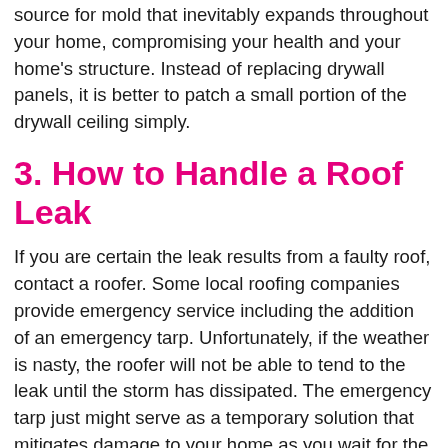source for mold that inevitably expands throughout your home, compromising your health and your home's structure. Instead of replacing drywall panels, it is better to patch a small portion of the drywall ceiling simply.
3. How to Handle a Roof Leak
If you are certain the leak results from a faulty roof, contact a roofer. Some local roofing companies provide emergency service including the addition of an emergency tarp. Unfortunately, if the weather is nasty, the roofer will not be able to tend to the leak until the storm has dissipated. The emergency tarp just might serve as a temporary solution that mitigates damage to your home as you wait for the roofer to address the underlying problem.
4. Check the Upstairs Sink, Toilet, and Shower